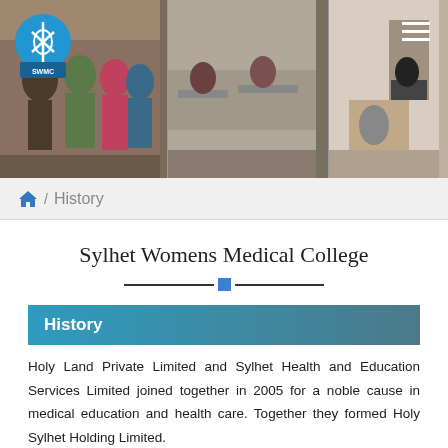[Figure (photo): Three panels showing students and staff at Sylhet Womens Medical College with logo overlay and hamburger menu]
Home / History
Sylhet Womens Medical College
History
Holy Land Private Limited and Sylhet Health and Education Services Limited joined together in 2005 for a noble cause in medical education and health care. Together they formed Holy Sylhet Holding Limited.
In 2007, Holy Sylhet Holding Limited (HSHL) commenced the college and hospital with the permission of the Government of Bangladesh and after completing all the necessary formalities with the competent authority...